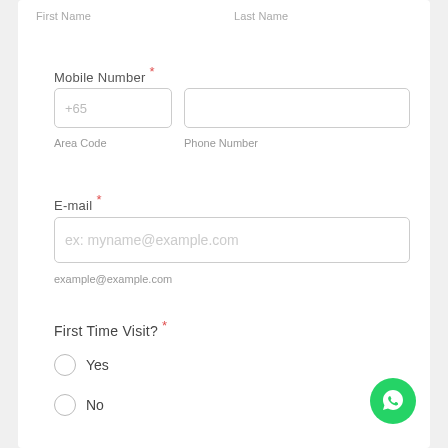First Name
Last Name
Mobile Number *
+65
Area Code
Phone Number
E-mail *
ex: myname@example.com
example@example.com
First Time Visit? *
Yes
No